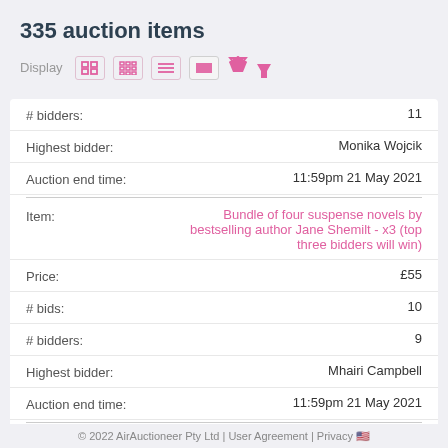335 auction items
Display [icons]
| Field | Value |
| --- | --- |
| # bidders: | 11 |
| Highest bidder: | Monika Wojcik |
| Auction end time: | 11:59pm 21 May 2021 |
| Item: | Bundle of four suspense novels by bestselling author Jane Shemilt - x3 (top three bidders will win) |
| Price: | £55 |
| # bids: | 10 |
| # bidders: | 9 |
| Highest bidder: | Mhairi Campbell |
| Auction end time: | 11:59pm 21 May 2021 |
| Item: | The Skylarks' War and The Time of Green Magic by award-winning children's book author |
© 2022 AirAuctioneer Pty Ltd | User Agreement | Privacy 🇺🇸